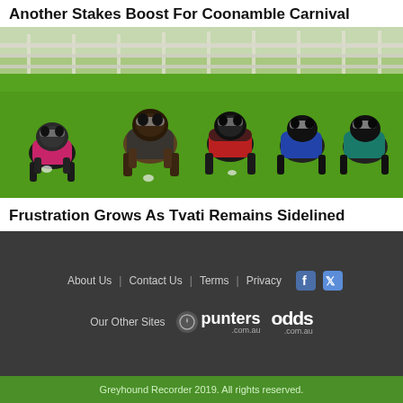Another Stakes Boost For Coonamble Carnival
[Figure (photo): Six greyhounds racing on a grass track, wearing colourful racing jackets and muzzles, photographed head-on in mid-stride.]
Frustration Grows As Tvati Remains Sidelined
About Us | Contact Us | Terms | Privacy  [Facebook] [Twitter]
Our Other Sites  punters.com.au  odds.com.au
Greyhound Recorder 2019. All rights reserved.